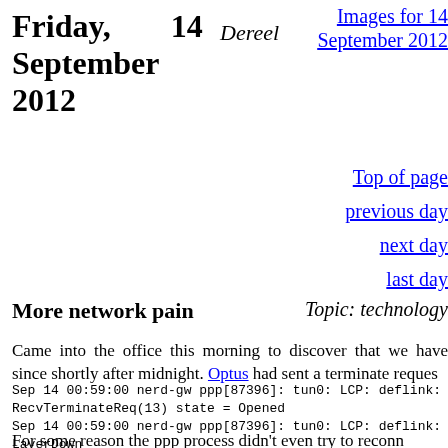Friday, 14 September 2012
Dereel
Images for 14 September 2012
Top of page
previous day
next day
last day
More network pain
Topic: technology
Came into the office this morning to discover that we have since shortly after midnight. Optus had sent a terminate reques
Sep 14 00:59:00 nerd-gw ppp[87396]: tun0: LCP: deflink: RecvTerminateReq(13) state = Opened
Sep 14 00:59:00 nerd-gw ppp[87396]: tun0: LCP: deflink: LayerDown
Sep 14 00:59:00 nerd-gw ppp[87396]: tun0: LCP: deflink: SendTerminateAck(13) state = Opened
Sep 14 00:59:00 nerd-gw ppp[87396]: tun0: LCP: deflink: State change Opened --> Stopping
For some reason the ppp process didn't even try to reconn